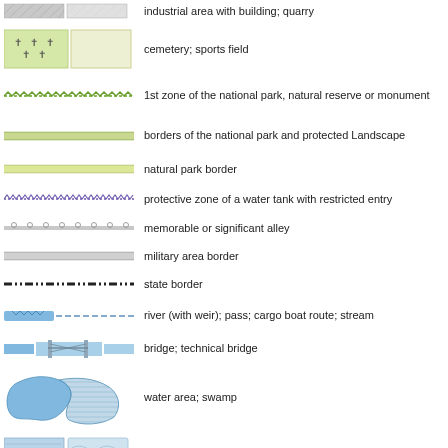industrial area with building; quarry
cemetery; sports field
1st zone of the national park, natural reserve or monument
borders of the national park and protected Landscape
natural park border
protective zone of a water tank with restricted entry
memorable or significant alley
military area border
state border
river (with weir); pass; cargo boat route; stream
bridge; technical bridge
water area; swamp
tidalflat; reef